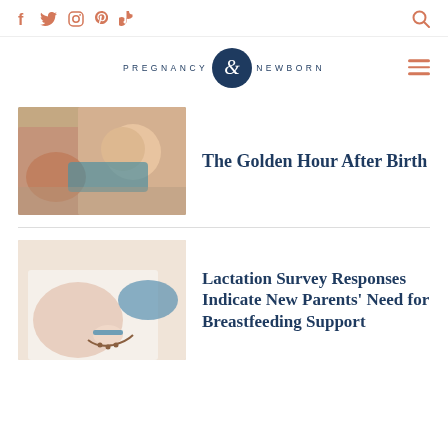Social icons: Facebook, Twitter, Instagram, Pinterest, TikTok | Search icon | Pregnancy & Newborn logo | Hamburger menu
[Figure (photo): Mother and newborn baby skin-to-skin contact after birth, hospital setting]
The Golden Hour After Birth
[Figure (photo): Person in hospital gown holding baby's hand, breastfeeding/lactation context]
Lactation Survey Responses Indicate New Parents' Need for Breastfeeding Support